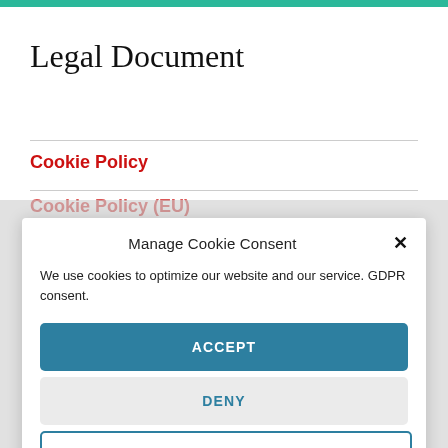Legal Document
Cookie Policy
Cookie Policy (EU)
Manage Cookie Consent
We use cookies to optimize our website and our service. GDPR consent.
ACCEPT
DENY
PREFERENCES